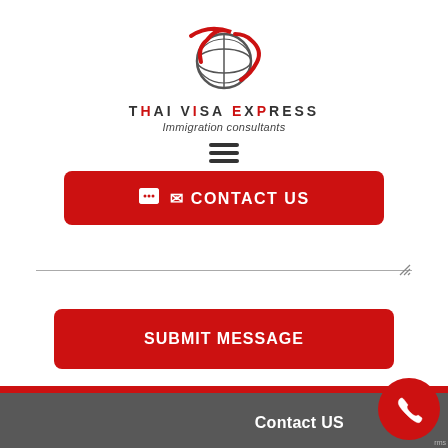[Figure (logo): Thai Visa Express globe logo with red swoosh and globe icon]
THAI VISA EXPRESS
Immigration consultants
[Figure (other): Hamburger menu icon (three horizontal lines)]
CONTACT US
[Figure (other): Text input field with resize handle]
SUBMIT MESSAGE
Contact US